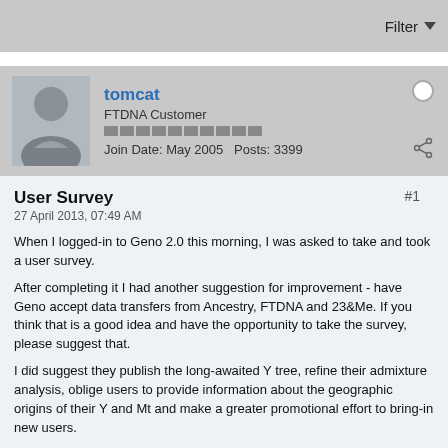Filter
tomcat
FTDNA Customer
Join Date: May 2005   Posts: 3399
User Survey
27 April 2013, 07:49 AM
When I logged-in to Geno 2.0 this morning, I was asked to take and took a user survey.
After completing it I had another suggestion for improvement - have Geno accept data transfers from Ancestry, FTDNA and 23&Me. If you think that is a good idea and have the opportunity to take the survey, please suggest that.
I did suggest they publish the long-awaited Y tree, refine their admixture analysis, oblige users to provide information about the geographic origins of their Y and Mt and make a greater promotional effort to bring-in new users.
Tags: None